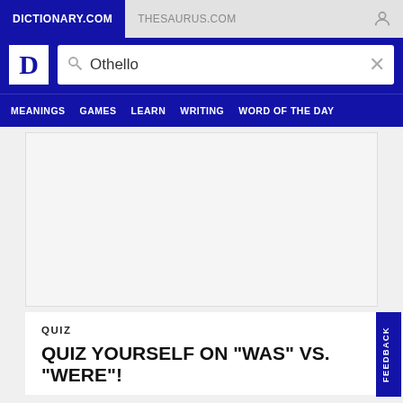DICTIONARY.COM | THESAURUS.COM
Othello
MEANINGS  GAMES  LEARN  WRITING  WORD OF THE DAY
[Figure (other): Advertisement placeholder area — blank white/grey rectangle]
QUIZ
QUIZ YOURSELF ON "WAS" VS. "WERE"!